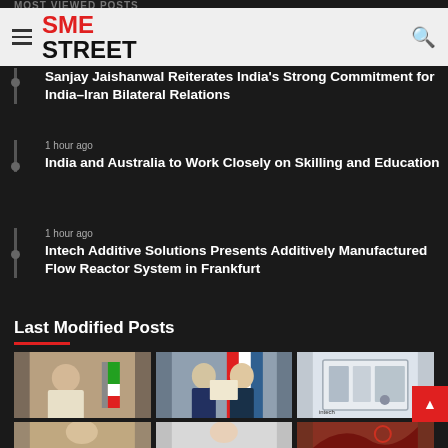SME STREET
Most Viewed Posts
Sanjay Jaishanwal Reiterates India's Strong Commitment for India–Iran Bilateral Relations
1 hour ago — India and Australia to Work Closely on Skilling and Education
1 hour ago — Intech Additive Solutions Presents Additively Manufactured Flow Reactor System in Frankfurt
Last Modified Posts
[Figure (photo): Three thumbnail photos in a grid: left shows a politician signing documents with Iranian flag, center shows two men exchanging documents with national flags, right shows industrial flow reactor machine (Intech)]
[Figure (photo): Bottom row of partial thumbnail photos]